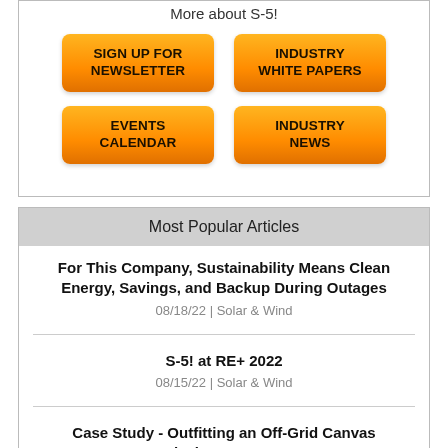More about S-5!
SIGN UP FOR NEWSLETTER
INDUSTRY WHITE PAPERS
EVENTS CALENDAR
INDUSTRY NEWS
Most Popular Articles
For This Company, Sustainability Means Clean Energy, Savings, and Backup During Outages
08/18/22 | Solar & Wind
S-5! at RE+ 2022
08/15/22 | Solar & Wind
Case Study - Outfitting an Off-Grid Canvas Geodesic Dome - Part 2